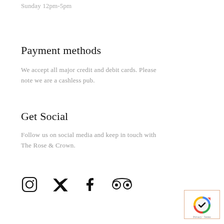Sunday 12pm-5pm
Payment methods
We accept all major credit and debit cards. Please note we are a cashless pub.
Get Social
Follow us on social media and keep in touch with The Rose & Crown.
[Figure (illustration): Social media icons: Instagram, Twitter/X, Facebook, TripAdvisor]
[Figure (logo): reCAPTCHA badge with Privacy and Terms links]